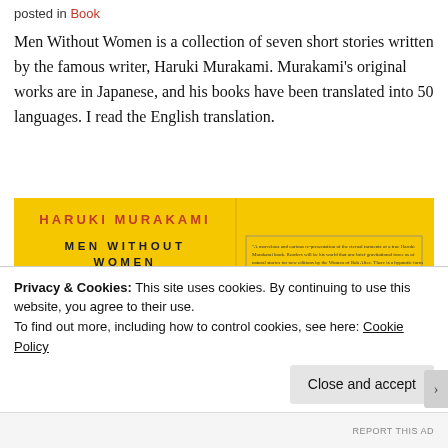posted in Book
Men Without Women is a collection of seven short stories written by the famous writer, Haruki Murakami. Murakami's original works are in Japanese, and his books have been translated into 50 languages. I read the English translation.
[Figure (photo): Book cover of Men Without Women by Haruki Murakami — yellow background with author name in red capitals, title in dark blue capitals, a black silhouette head, and on the right panel a review quote box and small silhouettes at the bottom.]
Privacy & Cookies: This site uses cookies. By continuing to use this website, you agree to their use.
To find out more, including how to control cookies, see here: Cookie Policy
Close and accept
REPORT THIS AD